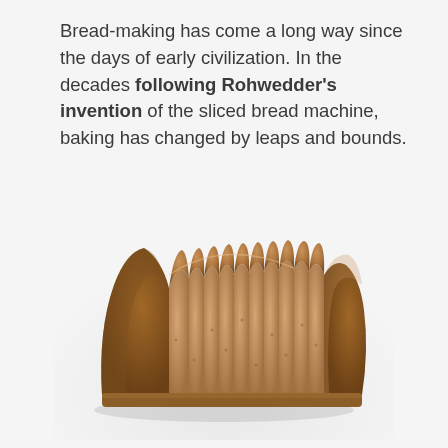Bread-making has come a long way since the days of early civilization. In the decades following Rohwedder's invention of the sliced bread machine, baking has changed by leaps and bounds.
[Figure (photo): A loaf of sliced whole wheat bread photographed against a light grey/white background, showing multiple evenly-cut slices fanned slightly, viewed from the front.]